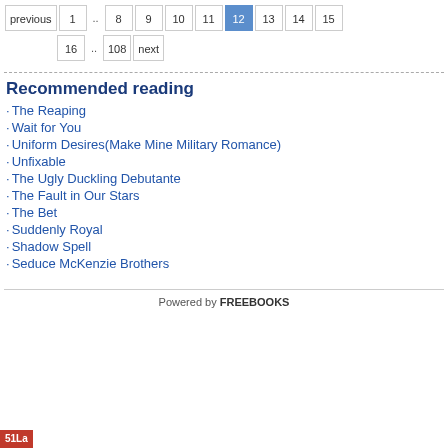previous 1 .. 8 9 10 11 12 13 14 15 16 .. 108 next
Recommended reading
The Reaping
Wait for You
Uniform Desires(Make Mine Military Romance)
Unfixable
The Ugly Duckling Debutante
The Fault in Our Stars
The Bet
Suddenly Royal
Shadow Spell
Seduce McKenzie Brothers
Powered by FREEBOOKS